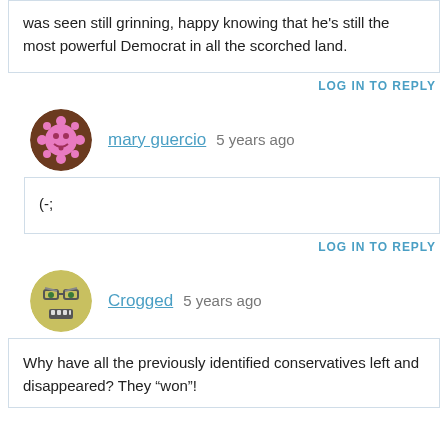was seen still grinning, happy knowing that he's still the most powerful Democrat in all the scorched land.
LOG IN TO REPLY
mary guercio  5 years ago
(-;
LOG IN TO REPLY
Crogged  5 years ago
Why have all the previously identified conservatives left and disappeared? They “won”!